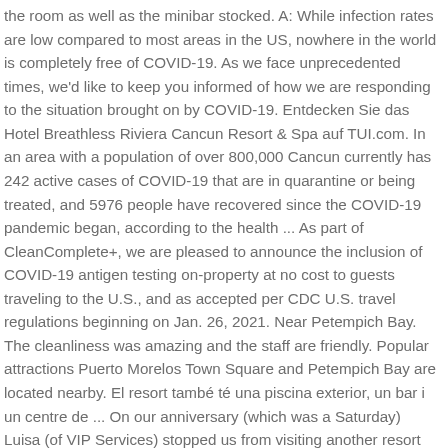the room as well as the minibar stocked. A: While infection rates are low compared to most areas in the US, nowhere in the world is completely free of COVID-19. As we face unprecedented times, we'd like to keep you informed of how we are responding to the situation brought on by COVID-19. Entdecken Sie das Hotel Breathless Riviera Cancun Resort & Spa auf TUI.com. In an area with a population of over 800,000 Cancun currently has 242 active cases of COVID-19 that are in quarantine or being treated, and 5976 people have recovered since the COVID-19 pandemic began, according to the health ... As part of CleanComplete+, we are pleased to announce the inclusion of COVID-19 antigen testing on-property at no cost to guests traveling to the U.S., and as accepted per CDC U.S. travel regulations beginning on Jan. 26, 2021. Near Petempich Bay. The cleanliness was amazing and the staff are friendly. Popular attractions Puerto Morelos Town Square and Petempich Bay are located nearby. El resort també té una piscina exterior, un bar i un centre de ... On our anniversary (which was a Saturday) Luisa (of VIP Services) stopped us from visiting another resort by speaking to our taxi driver in Spanish and told him is we want to go anywhere other than the mall to bring us back to the resort...YES THAT ACTUALLY HAPPEN. We thought they took everything seriously and were impressed. Hola Hola